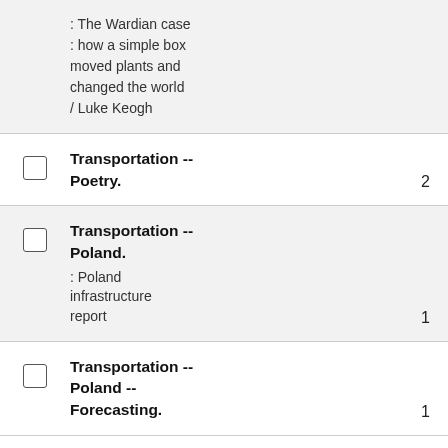: The Wardian case : how a simple box moved plants and changed the world / Luke Keogh
Transportation -- Poetry. 2
Transportation -- Poland. : Poland infrastructure report 1
Transportation -- Poland -- Forecasting. 1